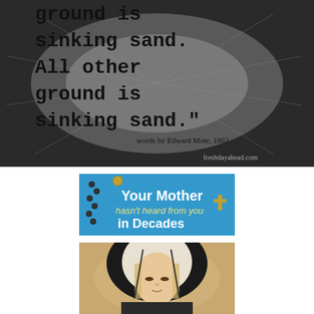[Figure (illustration): Black and white textured background image with large typewriter-font text reading: 'ground is sinking sand. All other ground is sinking sand.' with attribution 'words by Edward Mote, 1863' and watermark 'freshdayahead.com']
[Figure (illustration): Blue banner image with a rosary graphic. Text reads: 'Your Mother hasn't heard from you in Decades' with a cross/crucifix on the right side.]
[Figure (illustration): Classical portrait painting of a religious woman (likely the Virgin Mary or a female saint) wearing a black veil with white inner veil, looking downward with a somber expression.]